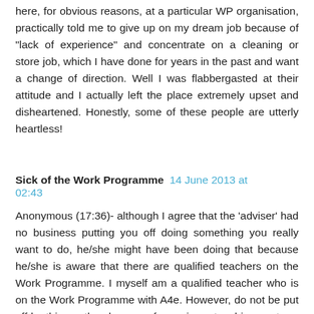here, for obvious reasons, at a particular WP organisation, practically told me to give up on my dream job because of "lack of experience" and concentrate on a cleaning or store job, which I have done for years in the past and want a change of direction. Well I was flabbergasted at their attitude and I actually left the place extremely upset and disheartened. Honestly, some of these people are utterly heartless!
Sick of the Work Programme  14 June 2013 at 02:43
Anonymous (17:36)- although I agree that the 'adviser' had no business putting you off doing something you really want to do, he/she might have been doing that because he/she is aware that there are qualified teachers on the Work Programme. I myself am a qualified teacher who is on the Work Programme with A4e. However, do not be put off by this, as the chances of securing a teaching post are very much linked to